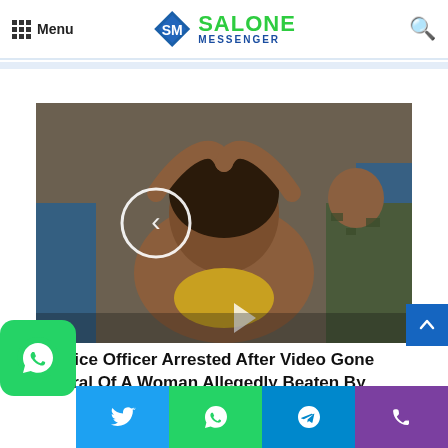Menu | SALONE MESSENGER
[Figure (screenshot): Video thumbnail showing a woman with hands on her head, a police officer nearby, with a play button overlay and navigation arrow]
Police Officer Arrested After Video Gone Viral Of A Woman Allegedly Beaten By Police ( Watch Video)
[Figure (infographic): Bottom social sharing bar with WhatsApp, Twitter, WhatsApp, Telegram, and Phone icons]